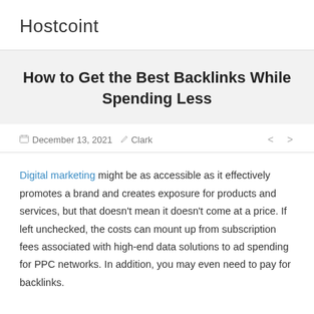Hostcoint
How to Get the Best Backlinks While Spending Less
December 13, 2021  Clark
Digital marketing might be as accessible as it effectively promotes a brand and creates exposure for products and services, but that doesn't mean it doesn't come at a price. If left unchecked, the costs can mount up from subscription fees associated with high-end data solutions to ad spending for PPC networks. In addition, you may even need to pay for backlinks.